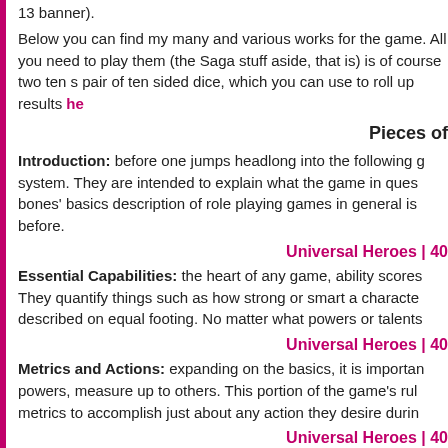13 banner).
Below you can find my many and various works for the game. All you need to play them (the Saga stuff aside, that is) is of course two ten sided dice, which you can use to roll up results he
Pieces of
Introduction: before one jumps headlong into the following game system. They are intended to explain what the game in question bones' basics description of role playing games in general is before.
Universal Heroes | 40
Essential Capabilities: the heart of any game, ability scores They quantify things such as how strong or smart a character described on equal footing. No matter what powers or talents
Universal Heroes | 40
Metrics and Actions: expanding on the basics, it is important powers, measure up to others. This portion of the game's rule metrics to accomplish just about any action they desire during
Universal Heroes | 40
Space and Movement: movement is the most basic of action another seems simple at first, but then you mix various super